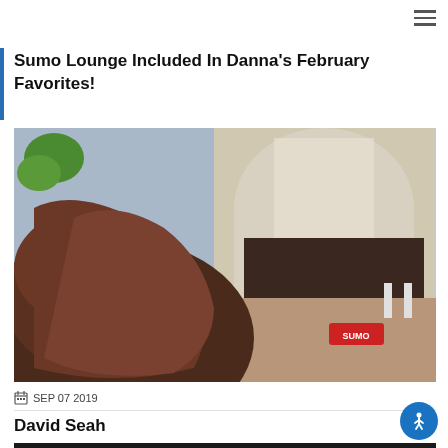Sumo Lounge Included In Danna’s February Favorites!
[Figure (photo): Photo of a dark brown sumo bean bag chair in a living space with blurred background showing furniture and plants. Red Sumo logo visible on the chair.]
SEP 07 2019
David Seah
[Figure (screenshot): Partial screenshot of a dark-background video or webpage showing green text that reads 'TR96' and '1'.]